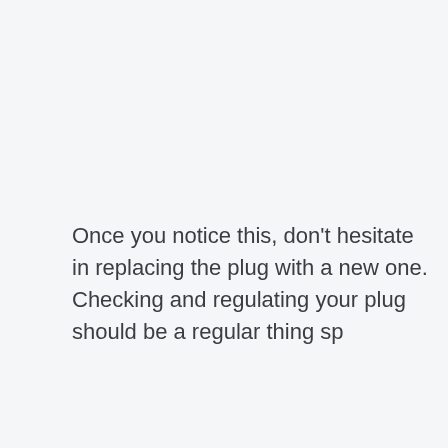Once you notice this, don't hesitate in replacing the plug with a new one. Checking and regulating your plug should be a regular thing sp
Major Chainsaw issues
Even when you have spent ample time and energy in checking vital parts of the machine